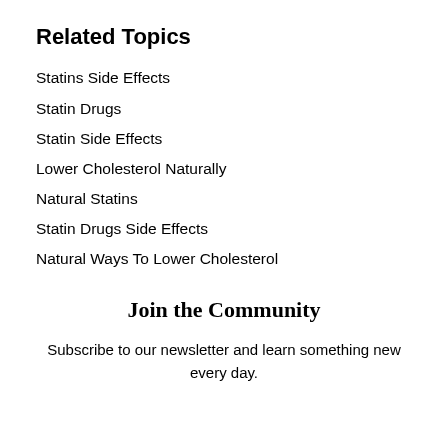Related Topics
Statins Side Effects
Statin Drugs
Statin Side Effects
Lower Cholesterol Naturally
Natural Statins
Statin Drugs Side Effects
Natural Ways To Lower Cholesterol
Join the Community
Subscribe to our newsletter and learn something new every day.